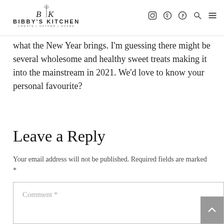BIBBY'S KITCHEN | CREATE | GATHER | SHARE
what the New Year brings. I'm guessing there might be several wholesome and healthy sweet treats making it into the mainstream in 2021. We'd love to know your personal favourite?
Leave a Reply
Your email address will not be published. Required fields are marked *